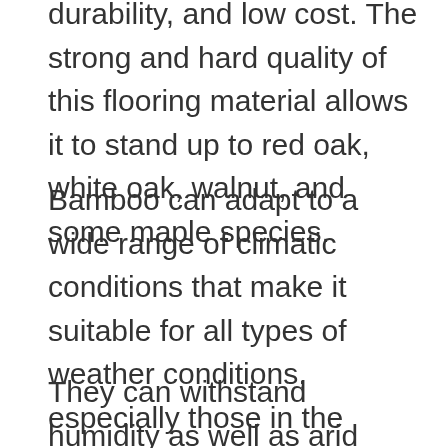durability, and low cost. The strong and hard quality of this flooring material allows it to stand up to red oak, white oak, walnut, and some maple species.
Bamboo can adapt to a wide range of climatic conditions that make it suitable for all types of weather conditions, especially those in the tropics and temperate regions.
They can withstand humidity as well as arid weather conditions, unlike hardwoods that expand or contract with